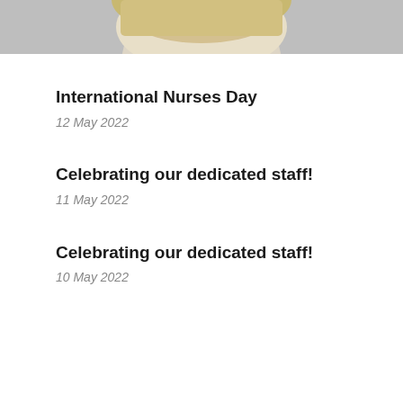[Figure (photo): Cropped photo showing top portion of a blonde woman's head against a light grey background]
International Nurses Day
12 May 2022
Celebrating our dedicated staff!
11 May 2022
Celebrating our dedicated staff!
10 May 2022